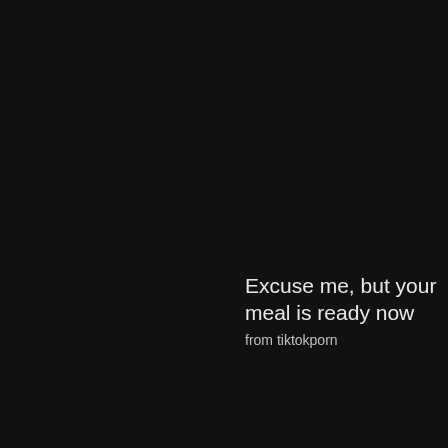Excuse me, but your meal is ready now
from tiktokporn